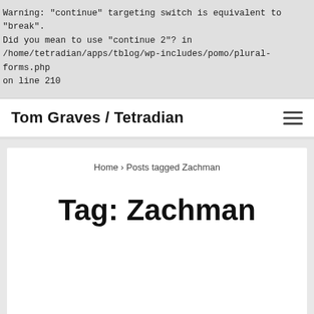Warning: "continue" targeting switch is equivalent to "break". Did you mean to use "continue 2"? in /home/tetradian/apps/tblog/wp-includes/pomo/plural-forms.php on line 210
Tom Graves / Tetradian
Home › Posts tagged Zachman
Tag: Zachman